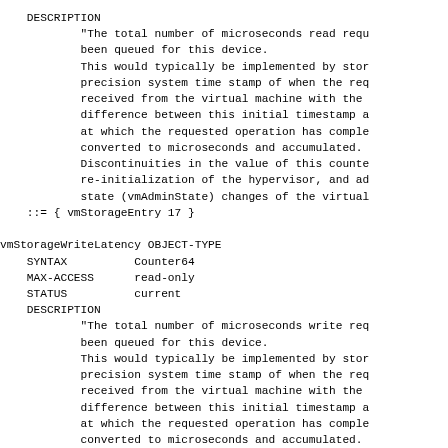DESCRIPTION
            "The total number of microseconds read requ
            been queued for this device.
            This would typically be implemented by stor
            precision system time stamp of when the req
            received from the virtual machine with the
            difference between this initial timestamp a
            at which the requested operation has comple
            converted to microseconds and accumulated.
            Discontinuities in the value of this counte
            re-initialization of the hypervisor, and ad
            state (vmAdminState) changes of the virtual
    ::= { vmStorageEntry 17 }

vmStorageWriteLatency OBJECT-TYPE
    SYNTAX          Counter64
    MAX-ACCESS      read-only
    STATUS          current
    DESCRIPTION
            "The total number of microseconds write req
            been queued for this device.
            This would typically be implemented by stor
            precision system time stamp of when the req
            received from the virtual machine with the
            difference between this initial timestamp a
            at which the requested operation has comple
            converted to microseconds and accumulated.
            Discontinuities in the value of this counte
            at re-initialization of the hypervisor, and
            administrative (vmAdminState) changes of th